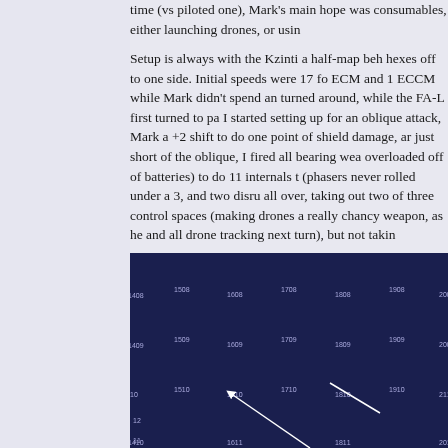time (vs piloted one), Mark's main hope was consumables, either launching drones, or using...
Setup is always with the Kzinti a half-map behind, hexes off to one side. Initial speeds were 17 for ECM and 1 ECCM while Mark didn't spend any turned around, while the FA-L first turned to pa I started setting up for an oblique attack, Mark a +2 shift to do one point of shield damage, ar just short of the oblique, I fired all bearing wea overloaded off of batteries) to do 11 internals t (phasers never rolled under a 3, and two disru all over, taking out two of three control spaces (making drones a really chancy weapon, as he and all drone tracking next turn), but not taking
[Figure (other): Hexagonal grid game map with dark navy blue hexagons labeled with coordinates (1407, 1508, 1608, 1808, 2008, 2108, etc.). White lines/arrows visible indicating movement or firing lines on the tactical map.]